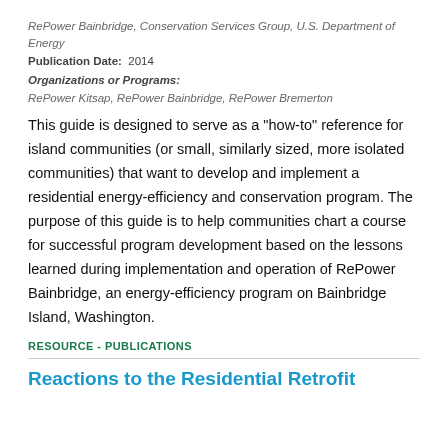RePower Bainbridge, Conservation Services Group, U.S. Department of Energy
Publication Date: 2014
Organizations or Programs:
RePower Kitsap, RePower Bainbridge, RePower Bremerton
This guide is designed to serve as a "how-to" reference for island communities (or small, similarly sized, more isolated communities) that want to develop and implement a residential energy-efficiency and conservation program. The purpose of this guide is to help communities chart a course for successful program development based on the lessons learned during implementation and operation of RePower Bainbridge, an energy-efficiency program on Bainbridge Island, Washington.
RESOURCE - PUBLICATIONS
Reactions to the Residential Retrofit